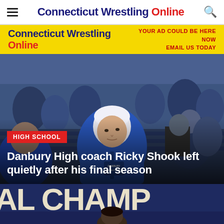Connecticut Wrestling Online
[Figure (infographic): Yellow banner ad for Connecticut Wrestling Online with text 'YOUR AD COULD BE HERE NOW EMAIL US TODAY']
[Figure (photo): A man with white hair wearing a blue Danbury Wrestling jacket sits in the stands at a wrestling event, surrounded by spectators]
HIGH SCHOOL
Danbury High coach Ricky Shook left quietly after his final season
[Figure (photo): Partial view of a banner reading 'AL CHAMP' with a person visible at the bottom]